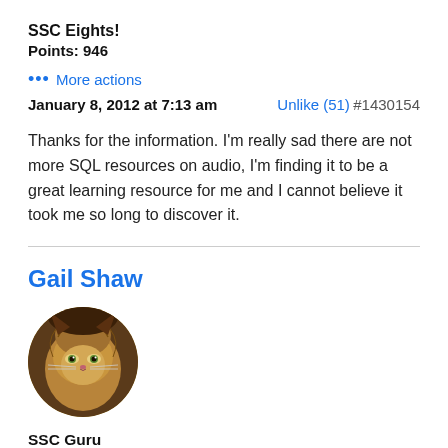SSC Eights!
Points: 946
••• More actions
January 8, 2012 at 7:13 am   Unlike (51)   #1430154
Thanks for the information. I'm really sad there are not more SQL resources on audio, I'm finding it to be a great learning resource for me and I cannot believe it took me so long to discover it.
Gail Shaw
[Figure (photo): Circular avatar photo of a fluffy cat with golden-brown fur]
SSC Guru